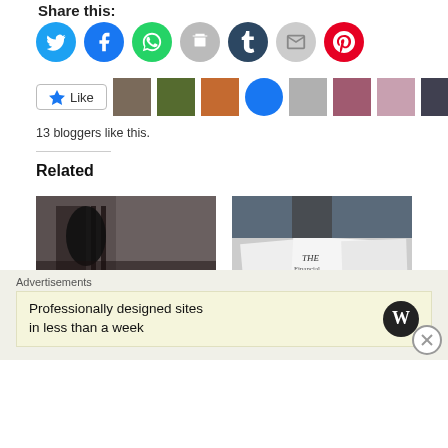Share this:
[Figure (infographic): Row of social share icon buttons: Twitter (blue), Facebook (blue), WhatsApp (green), Print (grey), Tumblr (dark navy), Email (grey), Pinterest (red)]
[Figure (infographic): Like button with star icon followed by 9 blogger avatar thumbnails]
13 bloggers like this.
Related
[Figure (photo): Dark silhouette of a person behind bars/gate with brick building background]
#fuckhonour and #fuckshame, when it silences young people
[Figure (photo): Pile of newspapers on a table with people's feet in background, The Financial Times visible]
Boko Haram have murdered over 10,000 people in 5 years.
Advertisements
Professionally designed sites in less than a week